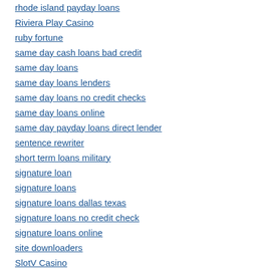rhode island payday loans
Riviera Play Casino
ruby fortune
same day cash loans bad credit
same day loans
same day loans lenders
same day loans no credit checks
same day loans online
same day payday loans direct lender
sentence rewriter
short term loans military
signature loan
signature loans
signature loans dallas texas
signature loans no credit check
signature loans online
site downloaders
SlotV Casino
small installment loan